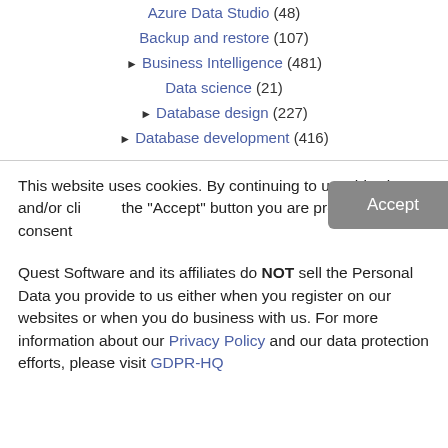Azure Data Studio (48)
Backup and restore (107)
▶ Business Intelligence (481)
Data science (21)
▶ Database design (227)
▶ Database development (416)
This website uses cookies. By continuing to use this site and/or clicking the "Accept" button you are providing consent
Quest Software and its affiliates do NOT sell the Personal Data you provide to us either when you register on our websites or when you do business with us. For more information about our Privacy Policy and our data protection efforts, please visit GDPR-HQ